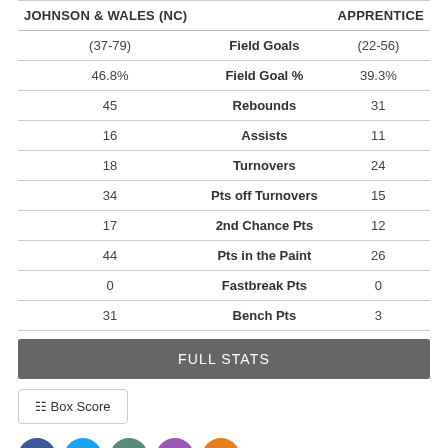| JOHNSON & WALES (NC) |  | APPRENTICE |
| --- | --- | --- |
| (37-79) | Field Goals | (22-56) |
| 46.8% | Field Goal % | 39.3% |
| 45 | Rebounds | 31 |
| 16 | Assists | 11 |
| 18 | Turnovers | 24 |
| 34 | Pts off Turnovers | 15 |
| 17 | 2nd Chance Pts | 12 |
| 44 | Pts in the Paint | 26 |
| 0 | Fastbreak Pts | 0 |
| 31 | Bench Pts | 3 |
FULL STATS
Box Score